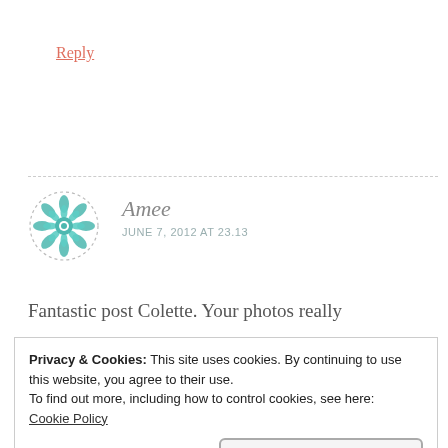Reply
[Figure (illustration): Circular avatar with teal geometric mandala/floral pattern on white background with dashed border]
Amee
JUNE 7, 2012 AT 23.13
Fantastic post Colette. Your photos really
Privacy & Cookies: This site uses cookies. By continuing to use this website, you agree to their use.
To find out more, including how to control cookies, see here:
Cookie Policy
Close and accept